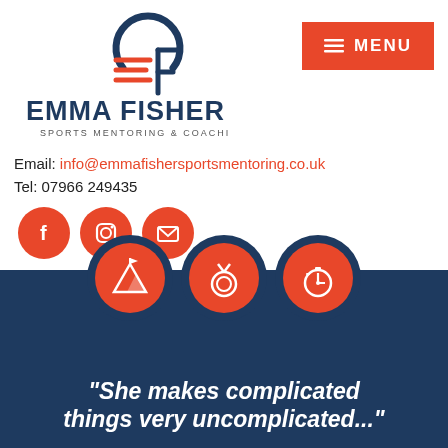[Figure (logo): Emma Fisher Sports Mentoring & Coaching logo with stylized EF monogram in navy and red]
MENU
Email: info@emmafishersportsmentoring.co.uk
Tel: 07966 249435
[Figure (infographic): Three red circular social media icons: Facebook, Instagram, Email]
[Figure (infographic): Three navy-bordered red circular sports icons: mountain/achievement, medal, stopwatch]
"She makes complicated things very uncomplicated..."